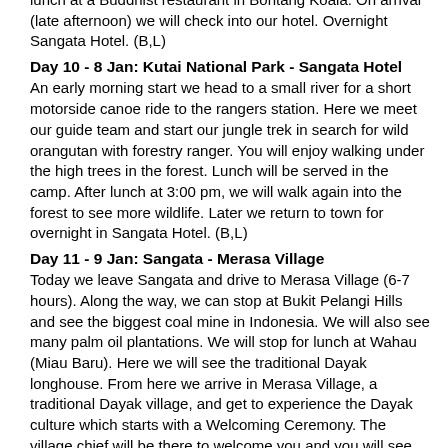lunch at a Buddhist restaurant in Bontang Koala. On arrival (late afternoon) we will check into our hotel. Overnight Sangata Hotel. (B,L)
Day 10 - 8 Jan: Kutai National Park - Sangata Hotel
An early morning start we head to a small river for a short motorside canoe ride to the rangers station. Here we meet our guide team and start our jungle trek in search for wild orangutan with forestry ranger. You will enjoy walking under the high trees in the forest. Lunch will be served in the camp. After lunch at 3:00 pm, we will walk again into the forest to see more wildlife. Later we return to town for overnight in Sangata Hotel. (B,L)
Day 11 - 9 Jan: Sangata - Merasa Village
Today we leave Sangata and drive to Merasa Village (6-7 hours). Along the way, we can stop at Bukit Pelangi Hills and see the biggest coal mine in Indonesia. We will also see many palm oil plantations. We will stop for lunch at Wahau (Miau Baru). Here we will see the traditional Dayak longhouse. From here we arrive in Merasa Village, a traditional Dayak village, and get to experience the Dayak culture which starts with a Welcoming Ceremony. The village chief will be there to welcome you and you will see traditional dancing and be introduced to the lives of the traditional people. You will then check into your village homestay